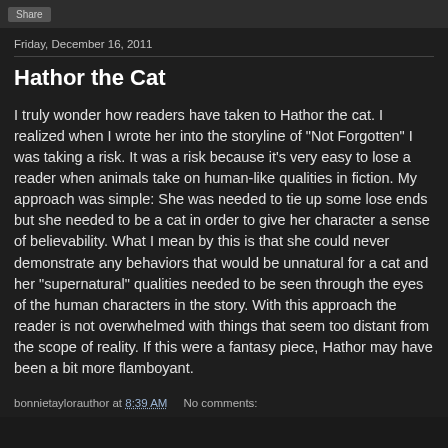Share
Friday, December 16, 2011
Hathor the Cat
I truly wonder how readers have taken to Hathor the cat. I realized when I wrote her into the storyline of "Not Forgotten" I was taking a risk. It was a risk because it's very easy to lose a reader when animals take on human-like qualities in fiction. My approach was simple: She was needed to tie up some lose ends but she needed to be a cat in order to give her character a sense of believability. What I mean by this is that she could never demonstrate any behaviors that would be unnatural for a cat and her "supernatural" qualities needed to be seen through the eyes of the human characters in the story. With this approach the reader is not overwhelmed with things that seem too distant from the scope of reality. If this were a fantasy piece, Hathor may have been a bit more flamboyant.
bonnietaylorauthor at 8:39 AM    No comments: